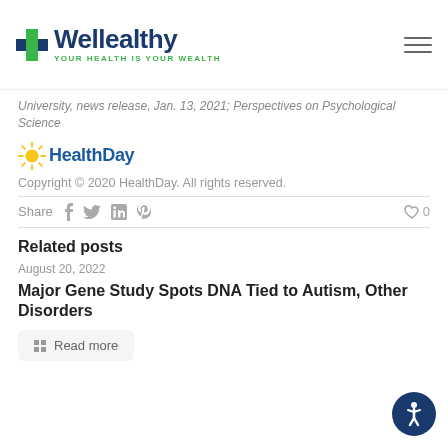[Figure (logo): Wellealthy logo with blue cross icon and tagline YOUR HEALTH IS YOUR WEALTH]
University, news release, Jan. 13, 2021; Perspectives on Psychological Science
[Figure (logo): HealthDay logo with sun graphic]
Copyright © 2020 HealthDay. All rights reserved.
Share  0
Related posts
August 20, 2022
Major Gene Study Spots DNA Tied to Autism, Other Disorders
Read more